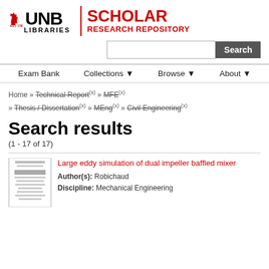[Figure (logo): UNB Libraries Scholar Research Repository logo with flame icon, black UNB LIBRARIES text, red divider, and red SCHOLAR RESEARCH REPOSITORY text]
Search [search input field] [Search button]
Exam Bank   Collections ▼   Browse ▼   About ▼
Home » Technical Report(x) » MFE(x) » Thesis / Dissertation(x) » MEng(x) » Civil Engineering(x)
Search results
(1 - 17 of 17)
Large eddy simulation of dual impeller baffled mixer
Author(s): Robichaud
Discipline: Mechanical Engineering